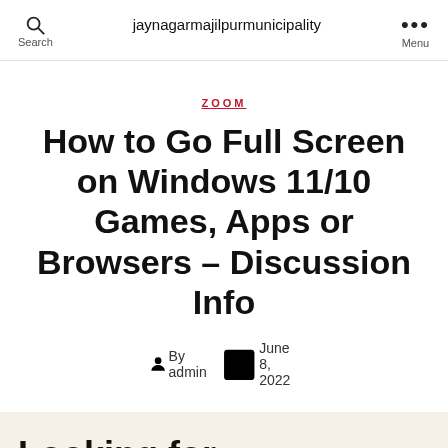Search | jaynagarmajilpurmunicipality | Menu
ZOOM
How to Go Full Screen on Windows 11/10 Games, Apps or Browsers – Discussion Info
By admin   June 8, 2022
Looking for: